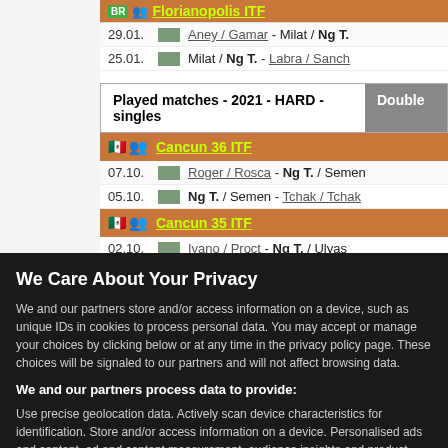| Date |  | Match |
| --- | --- | --- |
| 29.01. |  | Aney / Gamar - Milat / Ng T. |
| 25.01. |  | Milat / Ng T. - Labra / Sanch |
Played matches - 2021 - HARD - singles | Doubles
| Date |  | Match |
| --- | --- | --- |
|  |  | Cancun 36 ITF |
| 07.10. |  | Roger / Rosca - Ng T. / Semen |
| 05.10. |  | Ng T. / Semen - Tchak / Tchak |
|  |  | Cancun 35 ITF |
| 02.10. |  | Ivano / Proct - Ng T. / Ulyas |
| 30.09. |  | Ng T. / Ulyas - Barre / Fehr |
| 28.09. |  | Ng T. / Ulyas - Becer / Torre |
We Care About Your Privacy
We and our partners store and/or access information on a device, such as unique IDs in cookies to process personal data. You may accept or manage your choices by clicking below or at any time in the privacy policy page. These choices will be signaled to our partners and will not affect browsing data.
We and our partners process data to provide:
Use precise geolocation data. Actively scan device characteristics for identification. Store and/or access information on a device. Personalised ads and content, ad and content measurement, audience insights and product development.
List of Partners (vendors)